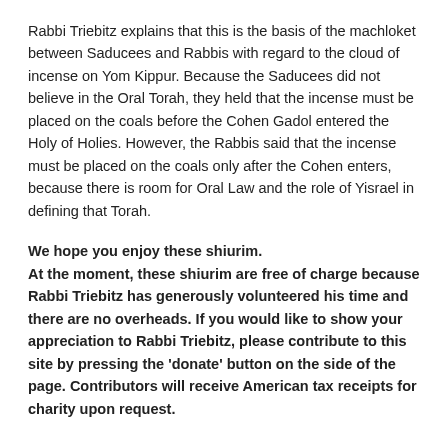Rabbi Triebitz explains that this is the basis of the machloket between Saducees and Rabbis with regard to the cloud of incense on Yom Kippur. Because the Saducees did not believe in the Oral Torah, they held that the incense must be placed on the coals before the Cohen Gadol entered the Holy of Holies. However, the Rabbis said that the incense must be placed on the coals only after the Cohen enters, because there is room for Oral Law and the role of Yisrael in defining that Torah.
We hope you enjoy these shiurim. At the moment, these shiurim are free of charge because Rabbi Triebitz has generously volunteered his time and there are no overheads. If you would like to show your appreciation to Rabbi Triebitz, please contribute to this site by pressing the 'donate' button on the side of the page. Contributors will receive American tax receipts for charity upon request.